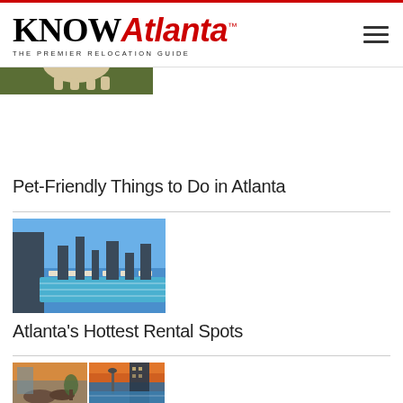KNOW Atlanta — THE PREMIER RELOCATION GUIDE
[Figure (photo): Dog wearing green harness on grass]
Pet-Friendly Things to Do in Atlanta
[Figure (photo): Rooftop pool with Atlanta skyline in background]
Atlanta's Hottest Rental Spots
[Figure (photo): Two photos of luxury apartment/hotel outdoor spaces]